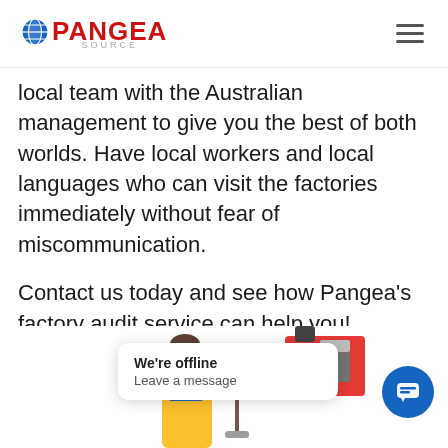PANGEA SOURCE
local team with the Australian management to give you the best of both worlds. Have local workers and local languages who can visit the factories immediately without fear of miscommunication.
Contact us today and see how Pangea's factory audit service can help you!
[Figure (illustration): Illustration of a factory worker in yellow overalls with industrial machinery, partially visible at the bottom of the page. A chat widget overlay shows 'We're offline / Leave a message' with a blue chat icon button.]